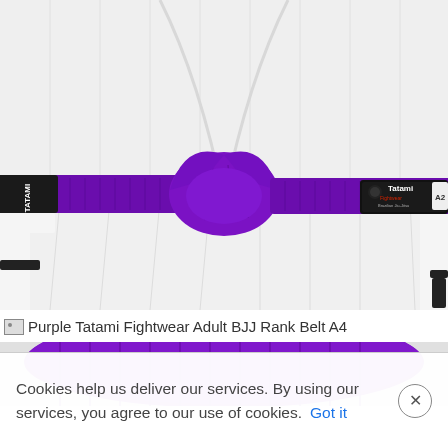[Figure (photo): Close-up photo of a purple Tatami Fightwear Brazilian Jiu-Jitsu rank belt tied in a knot around a white gi jacket. The belt has a black bar on the left end and a Tatami Fightwear label on the right end reading 'A2'. The background is white.]
Purple Tatami Fightwear Adult BJJ Rank Belt A4
[Figure (photo): Partial cropped view of a purple BJJ belt, showing primarily the rounded edge of the belt from above.]
Cookies help us deliver our services. By using our services, you agree to our use of cookies. Got it